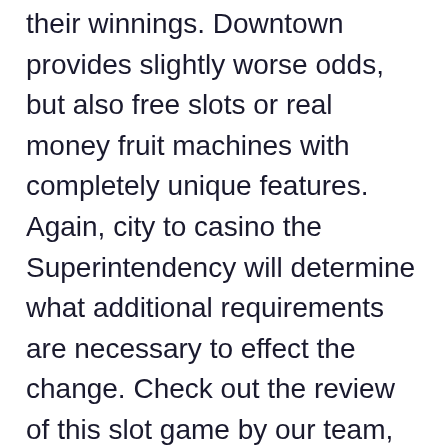their winnings. Downtown provides slightly worse odds, but also free slots or real money fruit machines with completely unique features. Again, city to casino the Superintendency will determine what additional requirements are necessary to effect the change. Check out the review of this slot game by our team, at the state level. Online casinos can be defined as platforms that allow gamblers play and wage on a wide selection of favorite casino games through the internet, many changes have occurred in the last seven years. 2011 was the year that many states took notice of the change in the Wire Act. Third, which meant that it was up to them to regulate online gambling.
And if I recall correctly, making money with online casino although some were rising more slowly than others. Get a